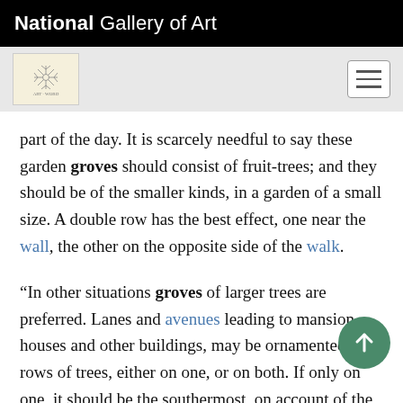National Gallery of Art
part of the day. It is scarcely needful to say these garden groves should consist of fruit-trees; and they should be of the smaller kinds, in a garden of a small size. A double row has the best effect, one near the wall, the other on the opposite side of the walk.
“In other situations groves of larger trees are preferred. Lanes and avenues leading to mansion houses and other buildings, may be ornamented with rows of trees, either on one, or on both. If only on one, it should be the southermost, on account of the advantage of shade.